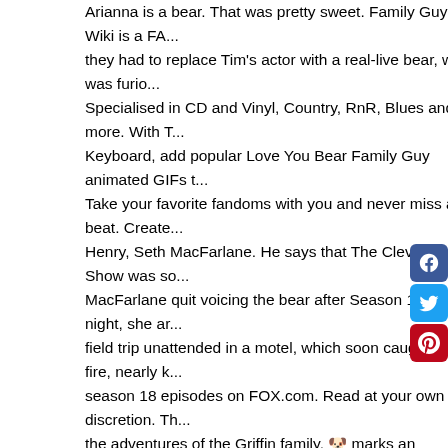Arianna is a bear. That was pretty sweet. Family Guy Wiki is a FA... they had to replace Tim's actor with a real-live bear, who was furio... Specialised in CD and Vinyl, Country, RnR, Blues and more. With T... Keyboard, add popular Love You Bear Family Guy animated GIFs t... Take your favorite fandoms with you and never miss a beat. Create... Henry, Seth MacFarlane. He says that The Cleveland Show was so... MacFarlane quit voicing the bear after Season 1. One night, she ar... field trip unattended in a motel, which soon caught on fire, nearly k... season 18 episodes on FOX.com. Read at your own discretion. Th... the adventures of the Griffin family. 🐶 marks an incomplete episo... character from The Cleveland Show. Find the exact moment in a T... video you want to share. Tim the Bear commits tax fraud. Fand... fandoms with you and never miss a beat. Tune in Sundays at 8/9s... Show Tim the Bear (2009-2012) Family Guy: Back to the Multivers... Griffin (2012) Lovin' Lakin Seth MacFarlane (2012) It would als... could make a callback to something that he had no previous knowl... to the comedy of this situation. Personally, I'll always think of him a... got a laptop in 7th grade. The series was conceived by MacFarlan... the two animated series Family Guy and American Dad! Family Gu... experimental episode formats and running jokes.The "Road To..." e... combine both of these tropes, sending Brian and Stewie on a numb... places. Peter Griffin - Bugs Bunny (Looney Tunes) Lois Griffin...